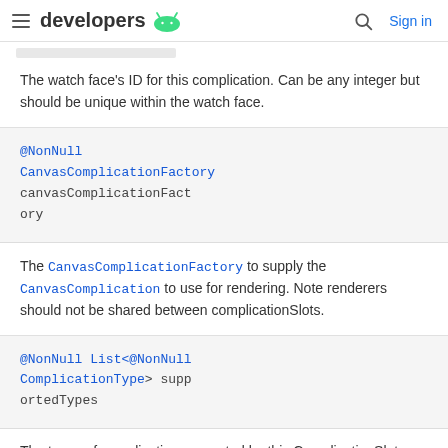developers (Android logo) | Search | Sign in
The watch face's ID for this complication. Can be any integer but should be unique within the watch face.
@NonNull
CanvasComplicationFactory
canvasComplicationFactory
The CanvasComplicationFactory to supply the CanvasComplication to use for rendering. Note renderers should not be shared between complicationSlots.
@NonNull List<@NonNull
ComplicationType> supportedTypes
The types of complication supported by this ComplicationSlot